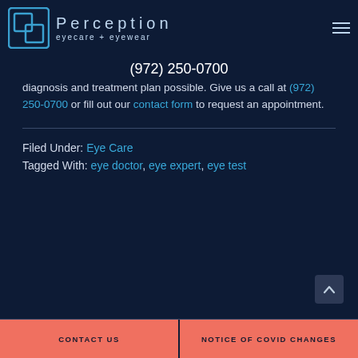[Figure (logo): Perception eyecare + eyewear logo with square icon and text]
(972) 250-0700
diagnosis and treatment plan possible. Give us a call at (972) 250-0700 or fill out our contact form to request an appointment.
Filed Under: Eye Care
Tagged With: eye doctor, eye expert, eye test
CONTACT US | NOTICE OF COVID CHANGES